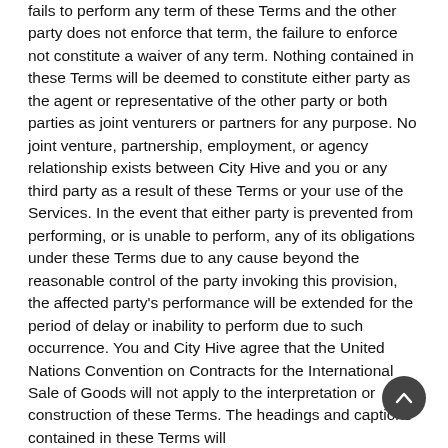fails to perform any term of these Terms and the other party does not enforce that term, the failure to enforce not constitute a waiver of any term. Nothing contained in these Terms will be deemed to constitute either party as the agent or representative of the other party or both parties as joint venturers or partners for any purpose. No joint venture, partnership, employment, or agency relationship exists between City Hive and you or any third party as a result of these Terms or your use of the Services. In the event that either party is prevented from performing, or is unable to perform, any of its obligations under these Terms due to any cause beyond the reasonable control of the party invoking this provision, the affected party's performance will be extended for the period of delay or inability to perform due to such occurrence. You and City Hive agree that the United Nations Convention on Contracts for the International Sale of Goods will not apply to the interpretation or construction of these Terms. The headings and captions contained in these Terms will